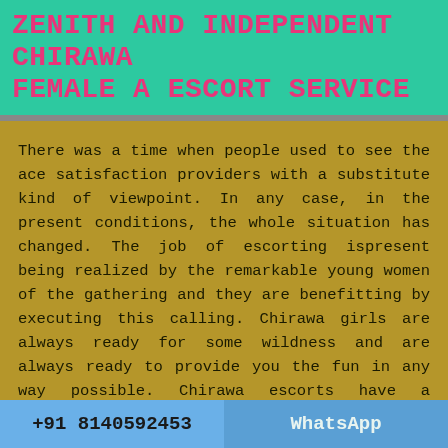ZENITH AND INDEPENDENT CHIRAWA FEMALE A ESCORT SERVICE
There was a time when people used to see the ace satisfaction providers with a substitute kind of viewpoint. In any case, in the present conditions, the whole situation has changed. The job of escorting ispresent being realized by the remarkable young women of the gathering and they are benefitting by executing this calling. Chirawa girls are always ready for some wildness and are always ready to provide you the fun in any way possible. Chirawa escorts have a substitute enthusiasm for them. They always have this desire that a man can make her feel like a woman. These escorts are as hot as the climate of this city. Very sexy and attractive from top to bottom these are the type of girls you'd want to sleep with. They can show you
+91 8140592453   WhatsApp